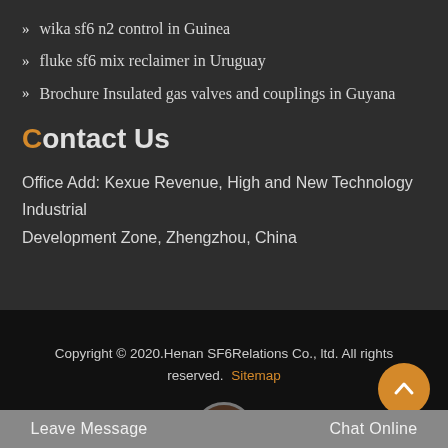wika sf6 n2 control in Guinea
fluke sf6 mix reclaimer in Uruguay
Brochure Insulated gas valves and couplings in Guyana
Contact Us
Office Add: Kexue Revenue, High and New Technology Industrial Development Zone, Zhengzhou, China
Copyright © 2020.Henan SF6Relations Co., ltd. All rights reserved. Sitemap
Leave Message
Chat Online